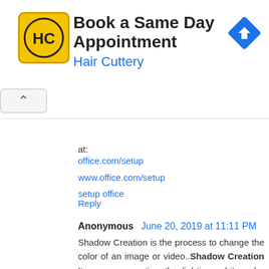[Figure (infographic): Advertisement banner for Hair Cuttery with HC logo, 'Book a Same Day Appointment' headline, 'Hair Cuttery' brand in blue, and a blue navigation icon on the right]
at:
office.com/setup
www.office.com/setup
setup office
Reply
Anonymous June 20, 2019 at 11:11 PM
Shadow Creation is the process to change the color of an image or video..Shadow Creation It means correcting the lighting, white color balance, red or blue color balance, so that the image looks more clear or natural
Reply
macbook support number July 3, 2019 at 2:58 PM